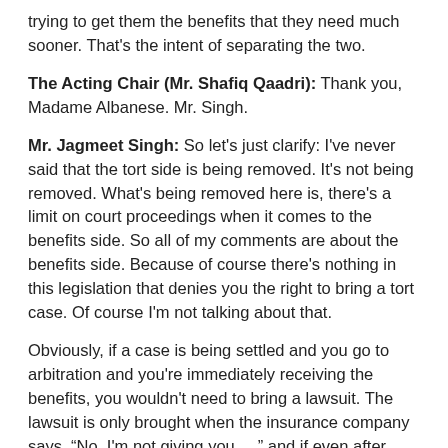trying to get them the benefits that they need much sooner. That's the intent of separating the two.
The Acting Chair (Mr. Shafiq Qaadri): Thank you, Madame Albanese. Mr. Singh.
Mr. Jagmeet Singh: So let's just clarify: I've never said that the tort side is being removed. It's not being removed. What's being removed here is, there's a limit on court proceedings when it comes to the benefits side. So all of my comments are about the benefits side. Because of course there's nothing in this legislation that denies you the right to bring a tort case. Of course I'm not talking about that.
Obviously, if a case is being settled and you go to arbitration and you're immediately receiving the benefits, you wouldn't need to bring a lawsuit. The lawsuit is only brought when the insurance company says, “No, I'm not giving you....,” and if even after arbitration the answer is still no, the then lawyer brings the suit.